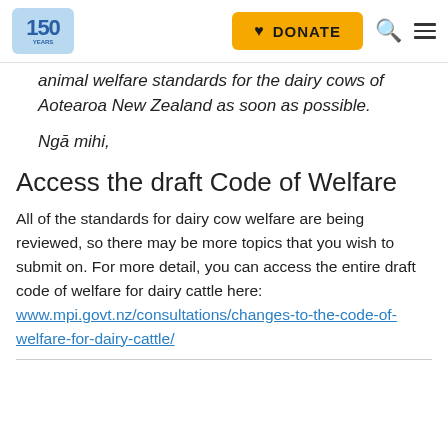150 YEARS | DONATE | search | menu
animal welfare standards for the dairy cows of Aotearoa New Zealand as soon as possible.
Ngā mihi,
Access the draft Code of Welfare
All of the standards for dairy cow welfare are being reviewed, so there may be more topics that you wish to submit on. For more detail, you can access the entire draft code of welfare for dairy cattle here: www.mpi.govt.nz/consultations/changes-to-the-code-of-welfare-for-dairy-cattle/